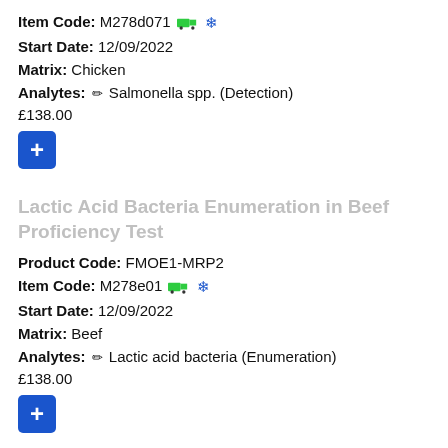Item Code: M278d071 🚚 ❄
Start Date: 12/09/2022
Matrix: Chicken
Analytes: ✏ Salmonella spp. (Detection)
£138.00
+
Lactic Acid Bacteria Enumeration in Beef Proficiency Test
Product Code: FMOE1-MRP2
Item Code: M278e01 🚚 ❄
Start Date: 12/09/2022
Matrix: Beef
Analytes: ✏ Lactic acid bacteria (Enumeration)
£138.00
+
Clostridium perfringens Enumeration in Beef